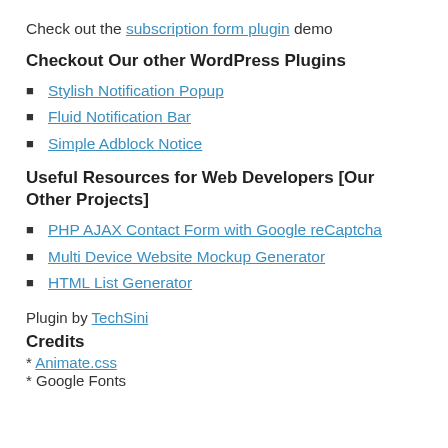Check out the subscription form plugin demo
Checkout Our other WordPress Plugins
Stylish Notification Popup
Fluid Notification Bar
Simple Adblock Notice
Useful Resources for Web Developers [Our Other Projects]
PHP AJAX Contact Form with Google reCaptcha
Multi Device Website Mockup Generator
HTML List Generator
Plugin by TechSini
Credits
* Animate.css
* Google Fonts